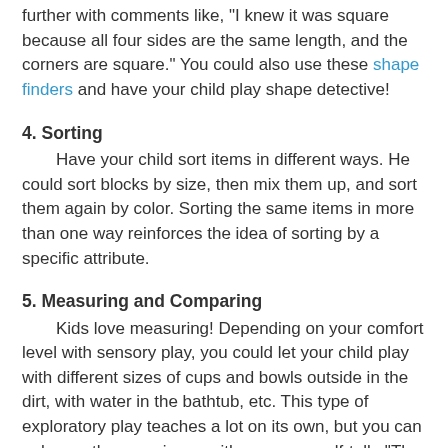further with comments like, "I knew it was square because all four sides are the same length, and the corners are square." You could also use these shape finders and have your child play shape detective!
4. Sorting
Have your child sort items in different ways. He could sort blocks by size, then mix them up, and sort them again by color. Sorting the same items in more than one way reinforces the idea of sorting by a specific attribute.
5. Measuring and Comparing
Kids love measuring! Depending on your comfort level with sensory play, you could let your child play with different sizes of cups and bowls outside in the dirt, with water in the bathtub, etc. This type of exploratory play teaches a lot on its own, but you can enhance the experience with your own self-talk: "The red cup is taller, but the blue cup is wider. I wonder which one will hold more?"
You can also work with non-standard units of measure for length: "I wonder how many paperclips long this pencil is?" "How many pieces of cereal do you think it will take to make